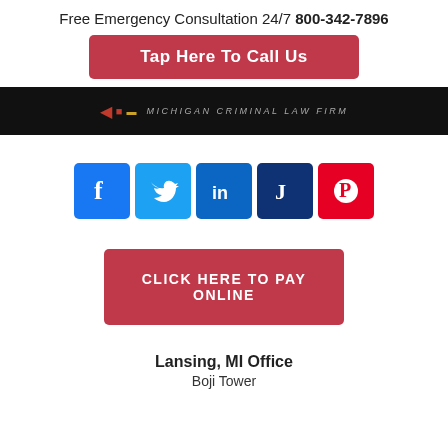Free Emergency Consultation 24/7  800-342-7896
Tap Here To Call Us
[Figure (logo): Michigan Criminal Law Firm logo banner with dark background, red accent, gold icon, and text 'MICHIGAN CRIMINAL LAW FIRM']
[Figure (infographic): Row of five social media icons: Facebook (blue), Twitter (light blue), LinkedIn (dark blue), Justia (navy blue J), Pinterest (red)]
CLICK HERE TO PAY ONLINE
Lansing, MI Office
Boji Tower